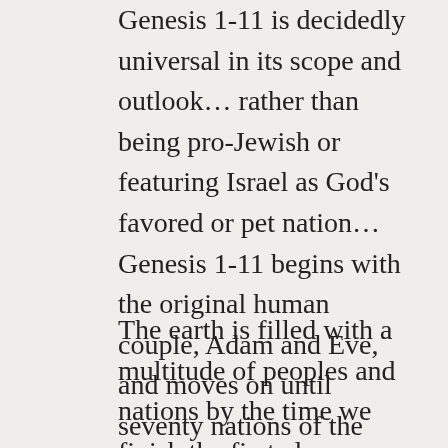Genesis 1-11 is decidedly universal in its scope and outlook… rather than being pro-Jewish or featuring Israel as God's favored or pet nation… Genesis 1-11 begins with the original human couple, Adam and Eve, and moves on until seventy nations of the world are encompassed in the scope of its message (in the Table of Nations in Genesis 10).
The earth is filled with a multitude of peoples and nations by the time we finish the first eleven chapters of Genesis. All of this is the result of the blessing of God. (Kaiser, 2000,